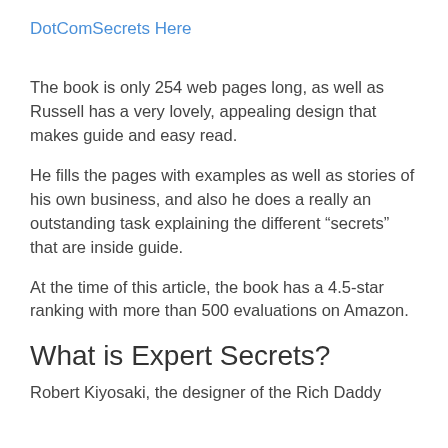DotComSecrets Here
The book is only 254 web pages long, as well as Russell has a very lovely, appealing design that makes guide and easy read.
He fills the pages with examples as well as stories of his own business, and also he does a really an outstanding task explaining the different “secrets” that are inside guide.
At the time of this article, the book has a 4.5-star ranking with more than 500 evaluations on Amazon.
What is Expert Secrets?
Robert Kiyosaki, the designer of the Rich Daddy